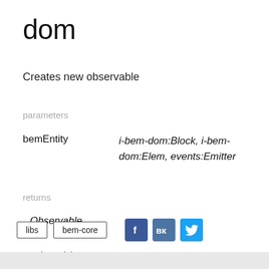dom
Creates new observable
parameters
| Parameter | Types |
| --- | --- |
| bemEntity | i-bem-dom:Block, i-bem-dom:Elem, events:Emitter |
returns
Observable
libs   bem-core
Rate the article
★ ★ ★ ★ ★ ,